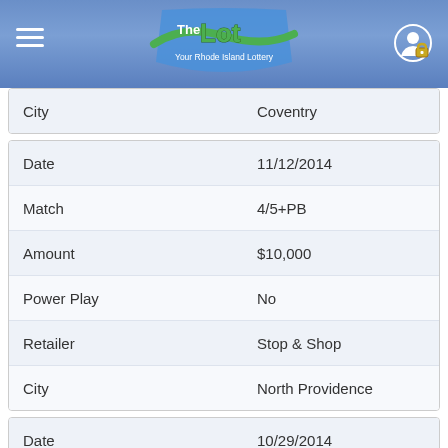The Lot — Your Rhode Island Lottery
| Field | Value |
| --- | --- |
| City | Coventry |
| Field | Value |
| --- | --- |
| Date | 11/12/2014 |
| Match | 4/5+PB |
| Amount | $10,000 |
| Power Play | No |
| Retailer | Stop & Shop |
| City | North Providence |
| Field | Value |
| --- | --- |
| Date | 10/29/2014 |
| Match | 4/5+PB |
| Amount | $30,000 |
| Power Play | Yes |
| Retailer | Colbea Enterprises |